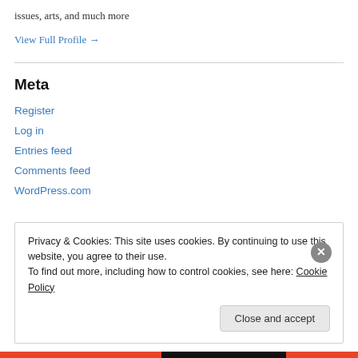issues, arts, and much more
View Full Profile →
Meta
Register
Log in
Entries feed
Comments feed
WordPress.com
Privacy & Cookies: This site uses cookies. By continuing to use this website, you agree to their use. To find out more, including how to control cookies, see here: Cookie Policy
Close and accept